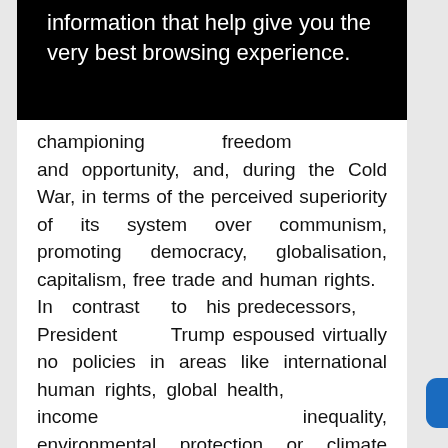information that help give you the very best browsing experience.
championing freedom and opportunity, and, during the Cold War, in terms of the perceived superiority of its system over communism, promoting democracy, globalisation, capitalism, free trade and human rights. In contrast to his predecessors, President Trump espoused virtually no policies in areas like international human rights, global health, income inequality, environmental protection or climate change, endangering American soft power as a result (as evidenced by deteriorating global views of the United States19). This lack of leadership is partly the result of deep divisions within American society on matters of politics, ideology, race, and